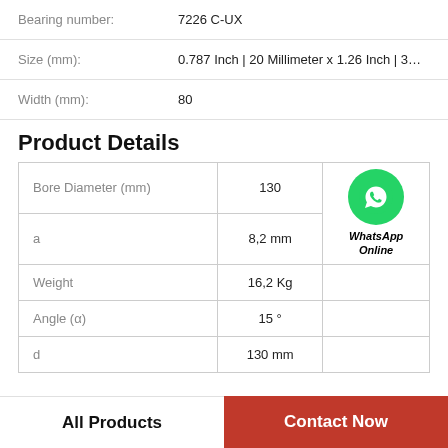| Field | Value |
| --- | --- |
| Bearing number: | 7226 C-UX |
| Size (mm): | 0.787 Inch | 20 Millimeter x 1.26 Inch | 3… |
| Width (mm): | 80 |
Product Details
| Property | Value |  |
| --- | --- | --- |
| Bore Diameter (mm) | 130 | WhatsApp Online |
| a | 8,2 mm |  |
| Weight | 16,2 Kg |  |
| Angle (α) | 15 ° |  |
| d | 130 mm |  |
All Products
Contact Now